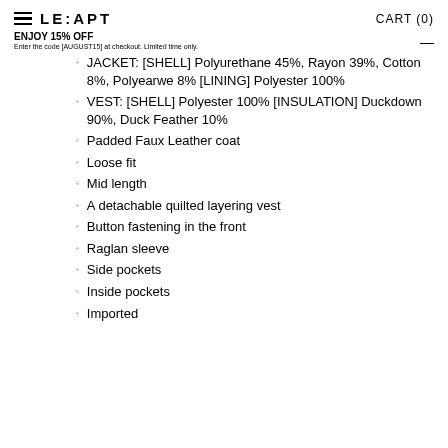LE:APT   CART (0)
ENJOY 15% OFF
Enter the code [AUGUST15] at checkout. Limited time only.
JACKET: [SHELL] Polyurethane 45%, Rayon 39%, Cotton 8%, Polyearwe 8% [LINING] Polyester 100%
VEST: [SHELL] Polyester 100% [INSULATION] Duckdown 90%, Duck Feather 10%
Padded Faux Leather coat
Loose fit
Mid length
A detachable quilted layering vest
Button fastening in the front
Raglan sleeve
Side pockets
Inside pockets
Imported